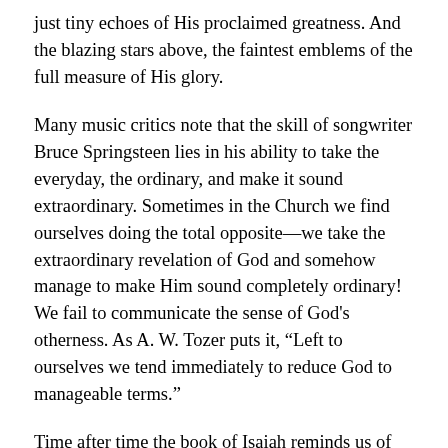just tiny echoes of His proclaimed greatness. And the blazing stars above, the faintest emblems of the full measure of His glory.
Many music critics note that the skill of songwriter Bruce Springsteen lies in his ability to take the everyday, the ordinary, and make it sound extraordinary. Sometimes in the Church we find ourselves doing the total opposite—we take the extraordinary revelation of God and somehow manage to make Him sound completely ordinary! We fail to communicate the sense of God's otherness. As A. W. Tozer puts it, “Left to ourselves we tend immediately to reduce God to manageable terms.”
Time after time the book of Isaiah reminds us of the uniqueness of God. “I will not time over there to